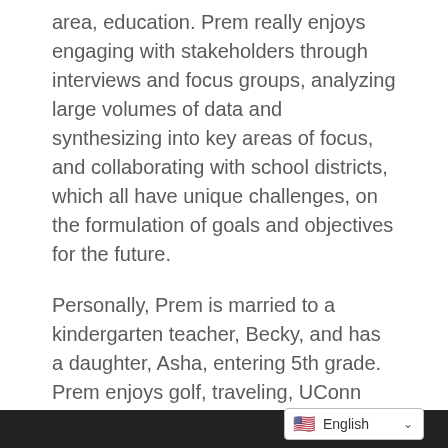area, education.  Prem really enjoys engaging with stakeholders through interviews and focus groups, analyzing large volumes of data and synthesizing into key areas of focus, and collaborating with school districts, which all have unique challenges, on the formulation of goals and objectives for the future.
Personally, Prem is married to a kindergarten teacher, Becky, and has a daughter, Asha, entering 5th grade.  Prem enjoys golf, traveling, UConn Huskies men's and women's basketball, and cooking (and eating).
English